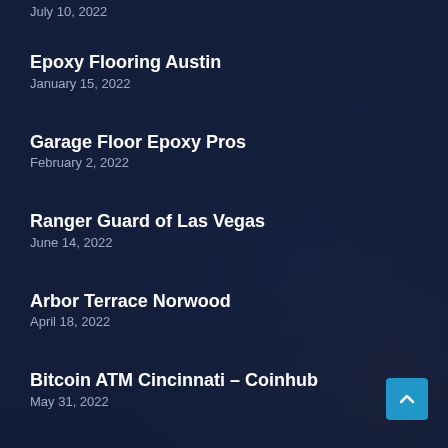July 10, 2022
Epoxy Flooring Austin
January 15, 2022
Garage Floor Epoxy Pros
February 2, 2022
Ranger Guard of Las Vegas
June 14, 2022
Arbor Terrace Norwood
April 18, 2022
Bitcoin ATM Cincinnati – Coinhub
May 31, 2022